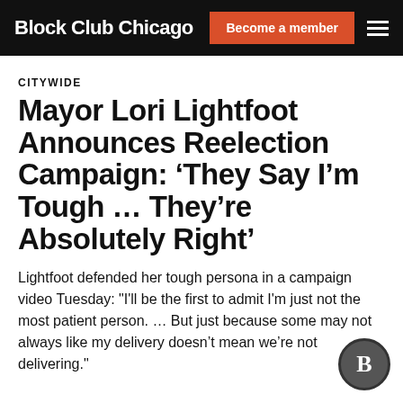Block Club Chicago | Become a member
CITYWIDE
Mayor Lori Lightfoot Announces Reelection Campaign: ‘They Say I’m Tough … They’re Absolutely Right’
Lightfoot defended her tough persona in a campaign video Tuesday: "I'll be the first to admit I'm just not the most patient person. … But just because some may not always like my delivery doesn’t mean we’re not delivering."